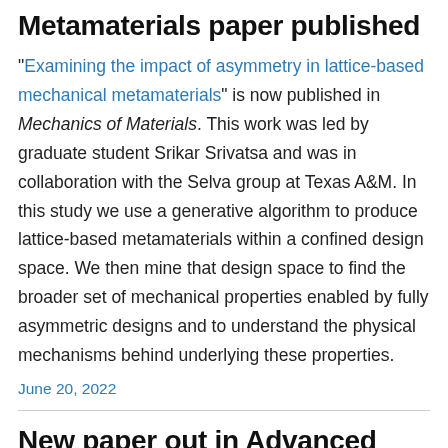Metamaterials paper published
"Examining the impact of asymmetry in lattice-based mechanical metamaterials" is now published in Mechanics of Materials. This work was led by graduate student Srikar Srivatsa and was in collaboration with the Selva group at Texas A&M. In this study we use a generative algorithm to produce lattice-based metamaterials within a confined design space. We then mine that design space to find the broader set of mechanical properties enabled by fully asymmetric designs and to understand the physical mechanisms behind underlying these properties.
June 20, 2022
New paper out in Advanced